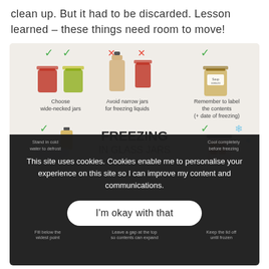clean up. But it had to be discarded. Lesson learned – these things need room to move!
[Figure (infographic): Infographic titled 'FREEZING IN GLASS JARS' showing tips: Choose wide-necked jars (with checkmarks), Avoid narrow jars for freezing liquids (with X marks), Remember to label the contents (+ date of freezing). Bottom portion partially obscured by cookie consent overlay.]
This site uses cookies. Cookies enable me to personalise your experience on this site so I can improve my content and communications.
I'm okay with that